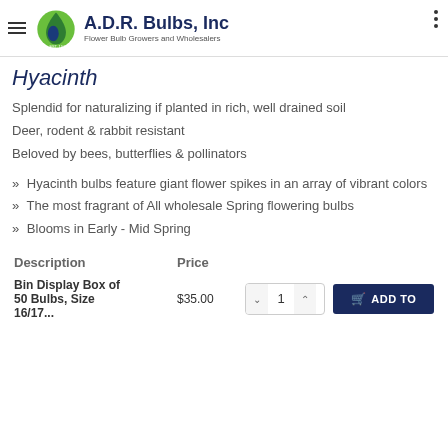A.D.R. Bulbs, Inc — Flower Bulb Growers and Wholesalers
Hyacinth
Splendid for naturalizing if planted in rich, well drained soil
Deer, rodent & rabbit resistant
Beloved by bees, butterflies & pollinators
» Hyacinth bulbs feature giant flower spikes in an array of vibrant colors
» The most fragrant of All wholesale Spring flowering bulbs
» Blooms in Early - Mid Spring
| Description | Price |
| --- | --- |
| Bin Display Box of 50 Bulbs, Size 16/17... | $35.00 |